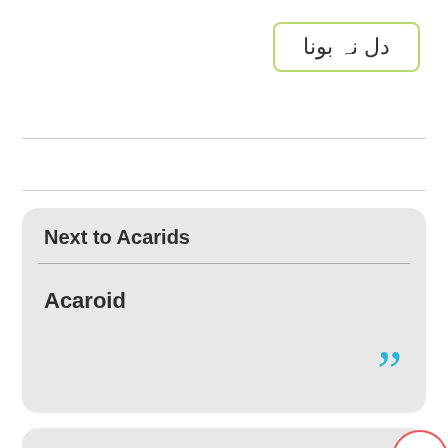دل نہ بونا
Next to Acarids
Acaroid
Previous to Acarids
Acarideans